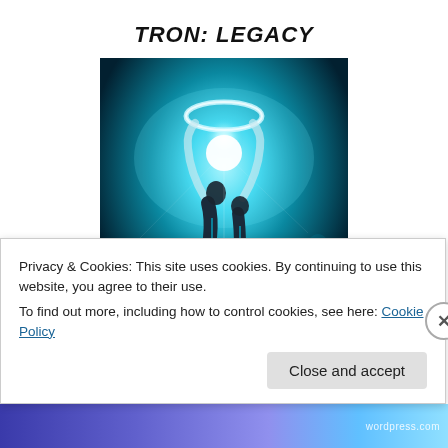TRON: LEGACY
[Figure (photo): Movie poster for TRON: LEGACY showing two figures in dark suits with glowing accents raising their arms upward toward a glowing disc/ring, set against a teal and blue sci-fi background]
Privacy & Cookies: This site uses cookies. By continuing to use this website, you agree to their use.
To find out more, including how to control cookies, see here: Cookie Policy
Close and accept